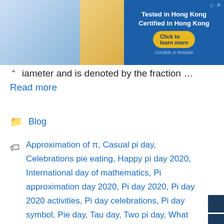[Figure (screenshot): Advertisement banner: Tested in Hong Kong, Certified in Hong Kong with Click to learn more button. Credible & Reliable tagline.]
diameter and is denoted by the fraction … Read more
Blog
Approximation of π, Casual pi day, Celebrations pie eating, Happy pi day 2020, International day of mathematics, Pi approximation day 2020, Pi day 2020, Pi day 2020 activities, Pi day celebrations, Pi day symbol, Pie day, Tau day, Two pi day, What does the symbol pi mean, When is pi approximation day celebrated